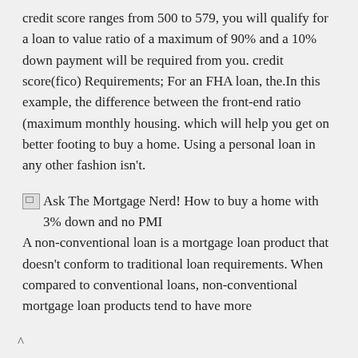credit score ranges from 500 to 579, you will qualify for a loan to value ratio of a maximum of 90% and a 10% down payment will be required from you. credit score(fico) Requirements; For an FHA loan, the.In this example, the difference between the front-end ratio (maximum monthly housing. which will help you get on better footing to buy a home. Using a personal loan in any other fashion isn't.
[Figure (other): Broken image placeholder for 'Ask The Mortgage Nerd! How to buy a home with 3% down and no PMI']
A non-conventional loan is a mortgage loan product that doesn't conform to traditional loan requirements. When compared to conventional loans, non-conventional mortgage loan products tend to have more